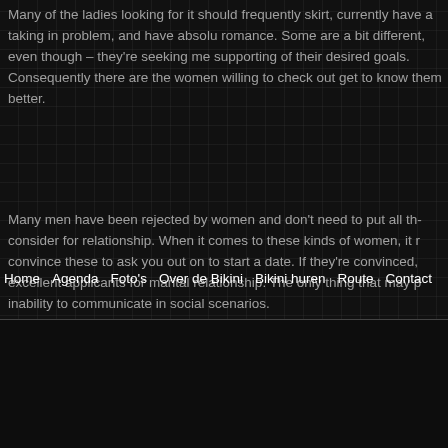Many of the ladies looking for it should frequently skirt, currently have a taking in problem, and have absolutely no romance. Some are a bit different, even though – they're seeking men supporting of their desired goals. Consequently there are the women willing to check out get to know them better.
Many men have been rejected by women and don't need to put all the consider for relationship. When it comes to these kinds of women, it is convince these to ask you out on to start a date. If they're convinced, excellent applicants for marital relationship. The only thing that may p inability to communicate in social scenarios.
Home   Agenda   Foto's   Over de Bikini   Bikini huren   Route   Contact